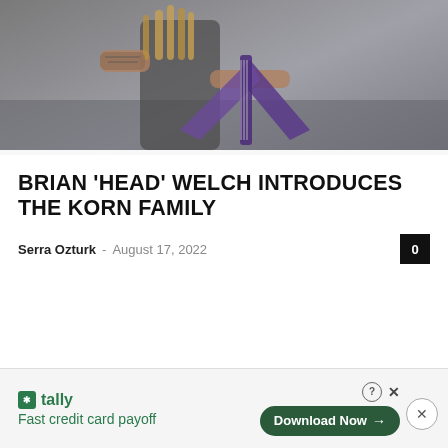[Figure (photo): Musician with tattoos playing a V-shaped electric guitar on stage, with dreadlocks or long hair, dark clothing, concert stage background]
BRIAN 'HEAD' WELCH INTRODUCES THE KORN FAMILY
Serra Ozturk - August 17, 2022
[Figure (screenshot): Advertisement banner for Tally app: 'Fast credit card payoff' with a 'Download Now' button]